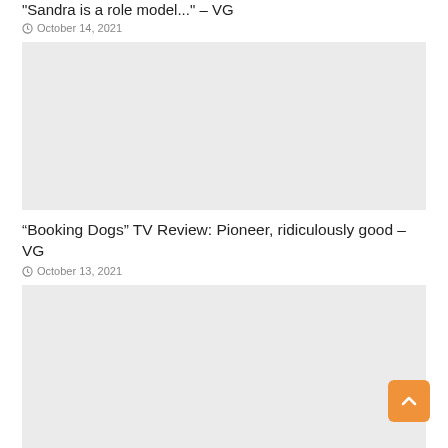Sandra is a role model... – VG
October 14, 2021
[Figure (photo): Gray placeholder image for article about Sandra]
"Booking Dogs" TV Review: Pioneer, ridiculously good – VG
October 13, 2021
[Figure (photo): Gray placeholder image for Booking Dogs TV Review article]
Sour atmosphere on Wall Street